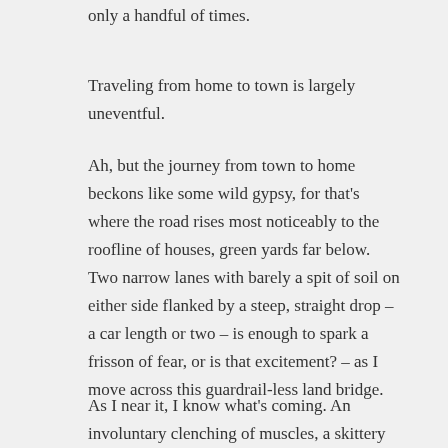only a handful of times.
Traveling from home to town is largely uneventful.
Ah, but the journey from town to home beckons like some wild gypsy, for that's where the road rises most noticeably to the roofline of houses, green yards far below. Two narrow lanes with barely a spit of soil on either side flanked by a steep, straight drop – a car length or two – is enough to spark a frisson of fear, or is that excitement? – as I move across this guardrail-less land bridge.
As I near it, I know what's coming. An involuntary clenching of muscles, a skittery shiver – oddly compelling, a momentary